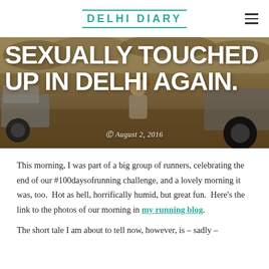DELHI DIARY
[Figure (photo): Woman in safari hat sitting in a jeep/vehicle outdoors, background of dry vegetation. Overlay text: 'SEXUALLY TOUCHED UP IN DELHI AGAIN.' with date 'August 2, 2016']
SEXUALLY TOUCHED UP IN DELHI AGAIN.
August 2, 2016
This morning, I was part of a big group of runners, celebrating the end of our #100daysofrunning challenge, and a lovely morning it was, too.  Hot as hell, horrifically humid, but great fun.  Here's the link to the photos of our morning in my running blog.
The short tale I am about to tell now, however, is – sadly –